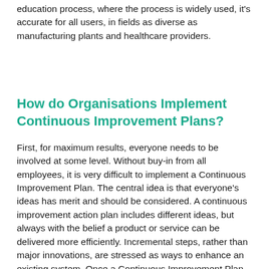education process, where the process is widely used, it's accurate for all users, in fields as diverse as manufacturing plants and healthcare providers.
How do Organisations Implement Continuous Improvement Plans?
First, for maximum results, everyone needs to be involved at some level. Without buy-in from all employees, it is very difficult to implement a Continuous Improvement Plan. The central idea is that everyone's ideas has merit and should be considered. A continuous improvement action plan includes different ideas, but always with the belief a product or service can be delivered more efficiently. Incremental steps, rather than major innovations, are stressed as ways to enhance an existing system. Once a Continuous Improvement Plan has been determined, and the team is on board, there are specific